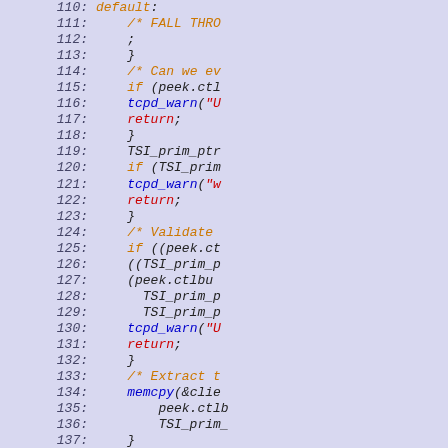[Figure (screenshot): Source code listing showing lines 110-139 of a C program with syntax highlighting. Line numbers in italic dark blue on left, code on right with orange keywords, red strings/return, blue function names, black identifiers. Background is light blue/lavender.]